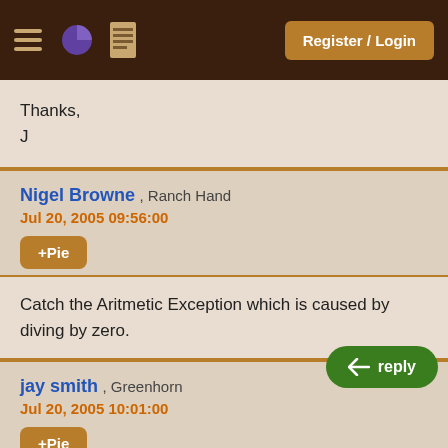Register / Login
Thanks,
J
Nigel Browne , Ranch Hand
Jul 20, 2005 09:56:00
+Pie
Catch the Aritmetic Exception which is caused by diving by zero.
jay smith , Greenhorn
Jul 20, 2005 10:01:00
+Pie
I haven't learned catches yet so I'm not g... it.